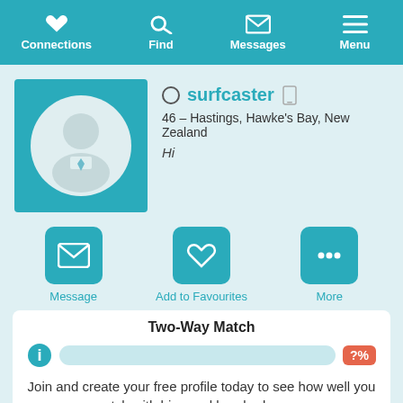Connections | Find | Messages | Menu
[Figure (illustration): Male silhouette avatar placeholder on teal background]
surfcaster
46 – Hastings, Hawke's Bay, New Zealand
Hi
Message | Add to Favourites | More
Two-Way Match
?%
Join and create your free profile today to see how well you match with him, and hundreds more.
Join now
Online: More than 6 months ago